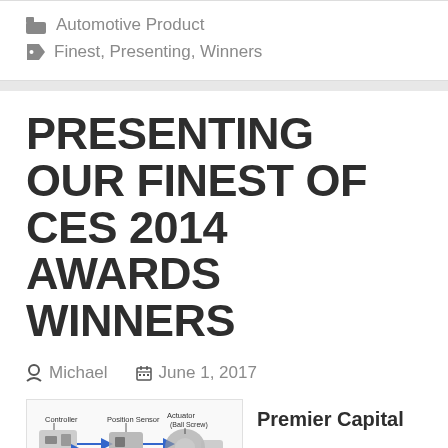Automotive Product
Finest, Presenting, Winners
PRESENTING OUR FINEST OF CES 2014 AWARDS WINNERS
Michael   June 1, 2017
[Figure (photo): Diagram of an automotive actuator system with components labeled: Controller, Position Sensor, Actuator (Ball Screw), with arrows showing connections.]
Premier Capital